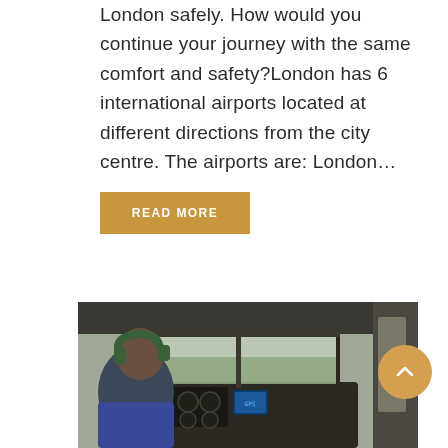London safely. How would you continue your journey with the same comfort and safety?London has 6 international airports located at different directions from the city centre. The airports are: London...
READ MORE
[Figure (photo): A pilot viewed from behind sitting in a small aircraft cockpit, wearing green headphones, with flight instruments visible on the dashboard and landscape visible through the windshield.]